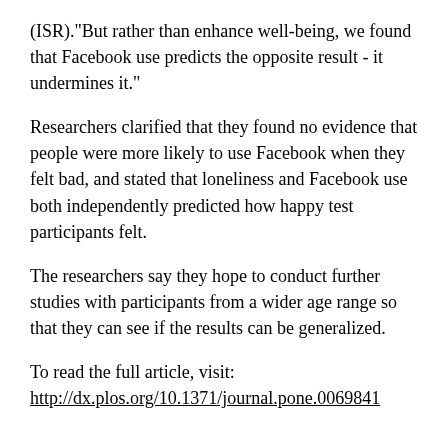(ISR)."But rather than enhance well-being, we found that Facebook use predicts the opposite result - it undermines it."
Researchers clarified that they found no evidence that people were more likely to use Facebook when they felt bad, and stated that loneliness and Facebook use both independently predicted how happy test participants felt.
The researchers say they hope to conduct further studies with participants from a wider age range so that they can see if the results can be generalized.
To read the full article, visit:
http://dx.plos.org/10.1371/journal.pone.0069841